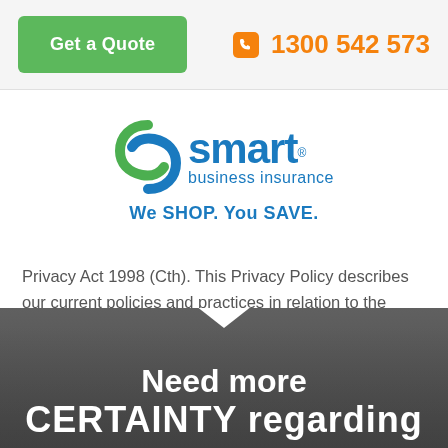Get a Quote   1300 542 573
[Figure (logo): Smart Business Insurance logo with green and blue S swirl icon, blue 'smart' text, 'business insurance' subtitle, registered trademark symbol, and tagline 'We SHOP. You SAVE.' in blue]
Privacy Act 1998 (Cth). This Privacy Policy describes our current policies and practices in relation to the handling and use of personal information. Smart Business Insurance Privacy Policy PDF
Need more CERTAINTY regarding